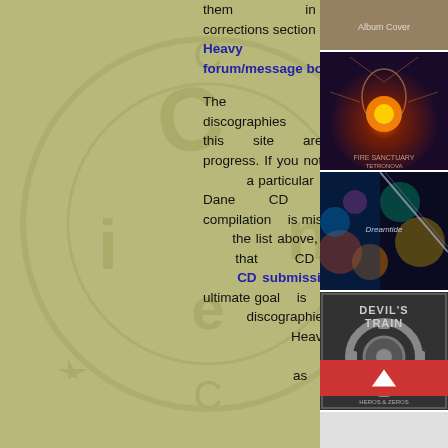them in the corrections section of the Heavy Harmonies forum/message board. The music discographies on this site are works in progress. If you notice that a particular Cobra Dane CD release or compilation is missing from the list above, please submit that CD using the CD submission page. The ultimate goal is to make the discographies here at Heavy Harmonies as complete as
[Figure (photo): Album cover image - top right, first thumbnail]
[Figure (photo): Album cover - Fire Sanctuary / Tetronova style artwork with face and orange orb]
[Figure (photo): Album cover - colorful bokeh/guitar artwork]
[Figure (photo): Devil's Train album cover with gear/mechanical imagery]
[Figure (photo): Album cover - partial view at bottom right]